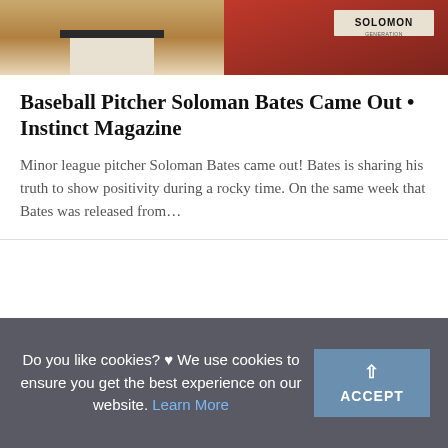[Figure (photo): Two-panel photo strip: left panel shows a baseball player from waist down in white pants and black belt against a yellow-green background; right panel shows a person at a red table with a 'SOLOMON' sign/banner visible]
Baseball Pitcher Soloman Bates Came Out • Instinct Magazine
Minor league pitcher Soloman Bates came out! Bates is sharing his truth to show positivity during a rocky time. On the same week that Bates was released from…
[Figure (other): Blank white card section below the article preview]
Do you like cookies? ♥ We use cookies to ensure you get the best experience on our website. Learn More